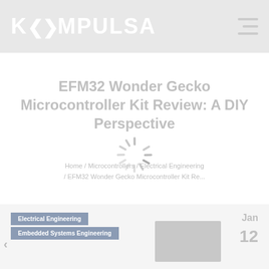KOMPULSA
EFM32 Wonder Gecko Microcontroller Kit Review: A DIY Perspective
Home / Microcontrollers / Electrical Engineering / EFM32 Wonder Gecko Microcontroller Kit Re...
[Figure (other): Loading spinner animation (radial spokes)]
Electrical Engineering
Embedded Systems Engineering
Jan 12